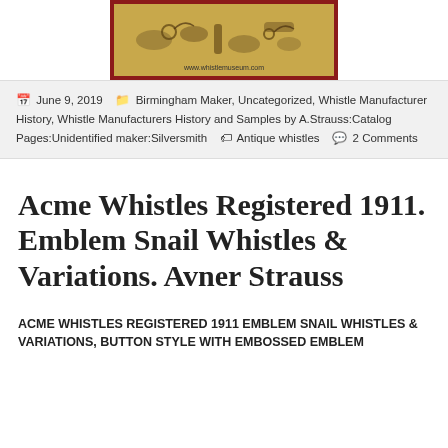[Figure (photo): Header image of whistle museum with antique whistles on a golden/tan background, with red border. URL www.whistlemuseum.com visible at bottom of image.]
June 9, 2019   Birmingham Maker, Uncategorized, Whistle Manufacturer History, Whistle Manufacturers History and Samples by A.Strauss:Catalog Pages:Unidentified maker:Silversmith   Antique whistles   2 Comments
Acme Whistles Registered 1911. Emblem Snail Whistles & Variations. Avner Strauss
ACME WHISTLES REGISTERED 1911 EMBLEM SNAIL WHISTLES & VARIATIONS, BUTTON STYLE WITH EMBOSSED EMBLEM